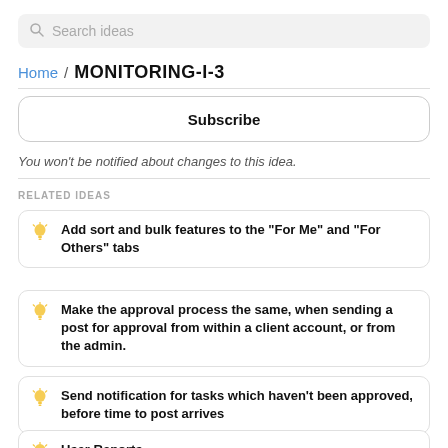Search ideas
Home / MONITORING-I-3
Subscribe
You won't be notified about changes to this idea.
RELATED IDEAS
Add sort and bulk features to the "For Me" and "For Others" tabs
Make the approval process the same, when sending a post for approval from within a client account, or from the admin.
Send notification for tasks which haven't been approved, before time to post arrives
User Reports